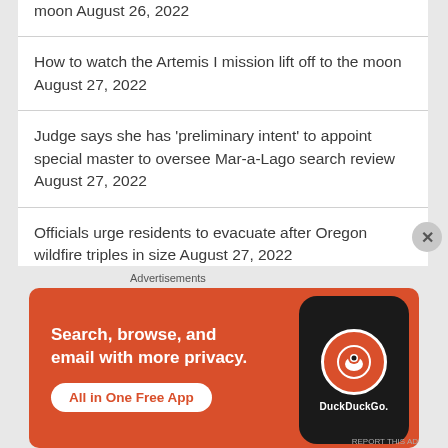moon August 26, 2022
How to watch the Artemis I mission lift off to the moon August 27, 2022
Judge says she has 'preliminary intent' to appoint special master to oversee Mar-a-Lago search review August 27, 2022
Officials urge residents to evacuate after Oregon wildfire triples in size August 27, 2022
Advertisements
[Figure (infographic): DuckDuckGo advertisement banner: orange background with text 'Search, browse, and email with more privacy. All in One Free App' alongside an image of a smartphone showing the DuckDuckGo logo]